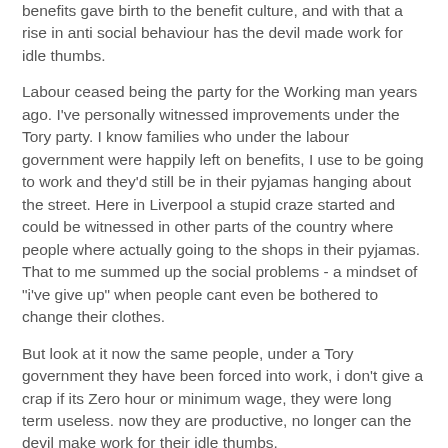benefits gave birth to the benefit culture, and with that a rise in anti social behaviour has the devil made work for idle thumbs.
Labour ceased being the party for the Working man years ago. I've personally witnessed improvements under the Tory party. I know families who under the labour government were happily left on benefits, I use to be going to work and they'd still be in their pyjamas hanging about the street. Here in Liverpool a stupid craze started and could be witnessed in other parts of the country where people where actually going to the shops in their pyjamas. That to me summed up the social problems - a mindset of "i've give up" when people cant even be bothered to change their clothes.
But look at it now the same people, under a Tory government they have been forced into work, i don't give a crap if its Zero hour or minimum wage, they were long term useless. now they are productive, no longer can the devil make work for their idle thumbs.
roll on more public cuts, reducing the burden on the state. less government is better for everyone. unless you think your entitled to state benefits.